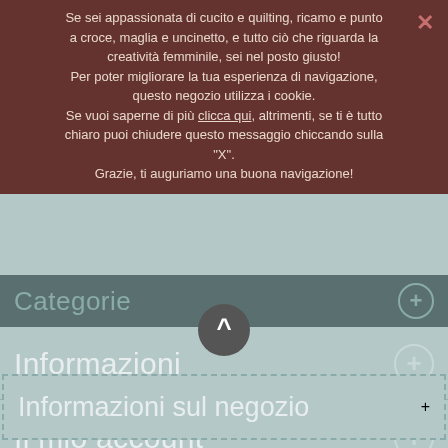Se sei appassionata di cucito e quilting, ricamo e punto a croce, maglia e uncinetto, e tutto ciò che riguarda la creatività femminile, sei nel posto giusto! Per poter migliorare la tua esperienza di navigazione, questo negozio utilizza i cookie. Se vuoi saperne di più clicca qui, altrimenti, se ti è tutto chiaro puoi chiudere questo messaggio chiccando sulla "X". Grazie, ti auguriamo una buona navigazione!
Categorie
Informazioni
Il mio account
Informazioni sul negozio